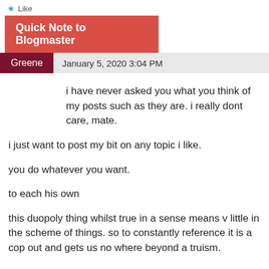Like
Quick Note to Blogmaster
Greene   January 5, 2020 3:04 PM
i have never asked you what you think of my posts such as they are. i really dont care, mate.
i just want to post my bit on any topic i like.
you do whatever you want.
to each his own
this duopoly thing whilst true in a sense means v little in the scheme of things. so to constantly reference it is a cop out and gets us no where beyond a truism.